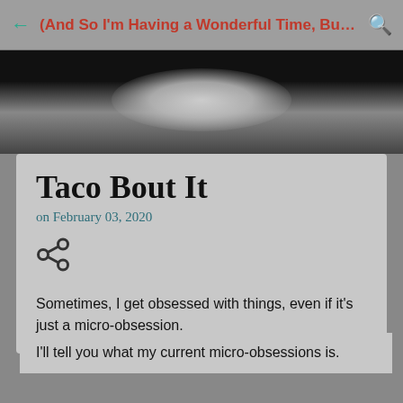(And So I'm Having a Wonderful Time, But I...
[Figure (photo): Dark blurred banner/hero image with a light blob in the center, likely a blurred background photo]
Taco Bout It
on February 03, 2020
[Figure (other): Share icon (social share button)]
Sometimes, I get obsessed with things, even if it's just a micro-obsession.
I'll tell you what my current micro-obsessions is.